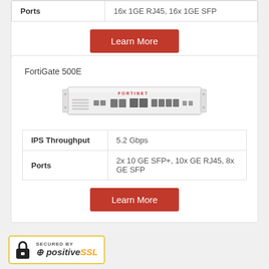| Ports | 16x 1GE RJ45, 16x 1GE SFP |
| --- | --- |
| Ports | 16x 1GE RJ45, 16x 1GE SFP |
Learn More
FortiGate 500E
[Figure (photo): FortiGate 500E rack-mount network security appliance, white 1U form factor with multiple ports on the front panel]
| IPS Throughput | 5.2 Gbps |
| --- | --- |
| IPS Throughput | 5.2 Gbps |
| Ports | 2x 10 GE SFP+, 10x GE RJ45, 8x GE SFP |
Learn More
[Figure (logo): Secured by Positive SSL badge with padlock icon and gold border]